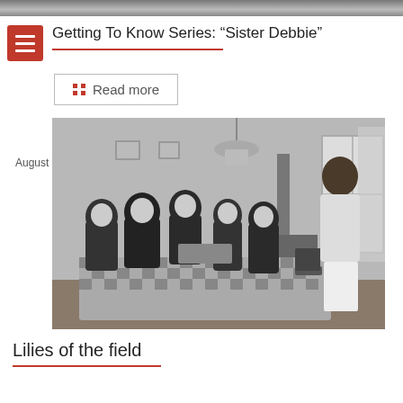[Figure (photo): Top cropped strip of an image, partially visible]
Getting To Know Series: “Sister Debbie”
Read more
[Figure (photo): Black and white still from 'Lilies of the Field' — a man standing at a table with nuns seated around it in a kitchen setting. Date badge reads August 16, 2022.]
Lilies of the field